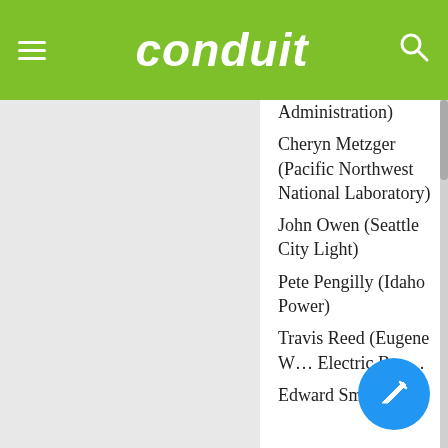conduit
Administration)
Cheryn Metzger (Pacific Northwest National Laboratory)
John Owen (Seattle City Light)
Pete Pengilly (Idaho Power)
Travis Reed (Eugene Water Electric Board)
Edward Smalley